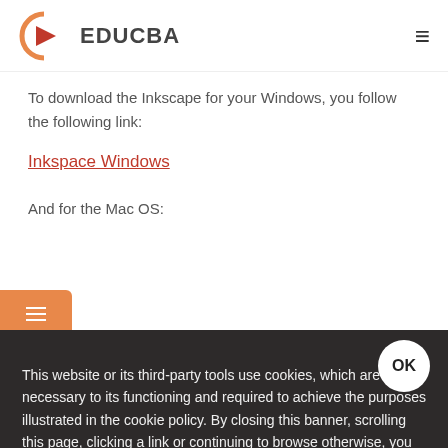EDUCBA
To download the Inkscape for your Windows, you follow the following link:
Inkspace Windows
And for the Mac OS:
Inkspace Mac
Recommended Articles
This website or its third-party tools use cookies, which are necessary to its functioning and required to achieve the purposes illustrated in the cookie policy. By closing this banner, scrolling this page, clicking a link or continuing to browse otherwise, you agree to our Privacy Policy
There are multimedia software. Here are dealing with 6 free multimedia software in detail. You may also